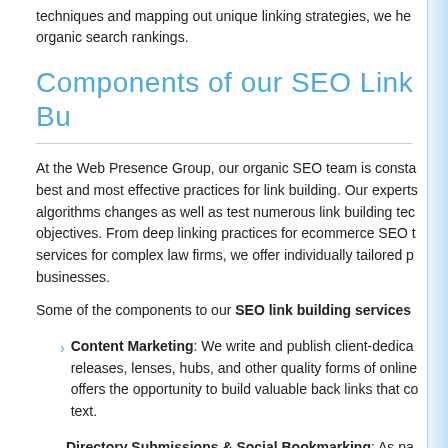techniques and mapping out unique linking strategies, we help improve organic search rankings.
Components of our SEO Link Bu...
At the Web Presence Group, our organic SEO team is constantly researching the best and most effective practices for link building. Our experts monitor search engine algorithms changes as well as test numerous link building techniques to meet client objectives. From deep linking practices for ecommerce SEO to attorney link building services for complex law firms, we offer individually tailored packages for all businesses.
Some of the components to our SEO link building services
Content Marketing: We write and publish client-dedicated articles, press releases, lenses, hubs, and other quality forms of online content. This offers the opportunity to build valuable back links that contain rich anchor text.
Directory Submissions & Social Bookmarking: As pa...